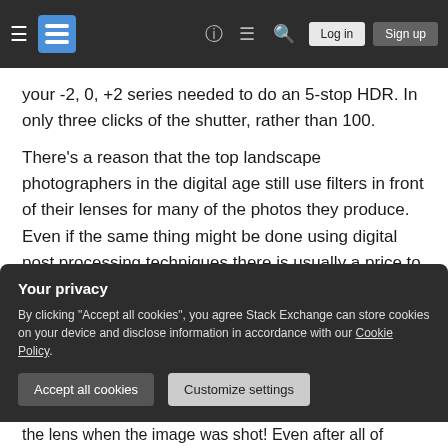Stack Exchange navigation bar with logo, help, chat, search, Log in, Sign up
your -2, 0, +2 series needed to do an 5-stop HDR. In only three clicks of the shutter, rather than 100.
There's a reason that the top landscape photographers in the digital age still use filters in front of their lenses for many of the photos they produce. Even if the same thing might be done using digital post processing techniques there is usually a price to be paid. That price may be in terms of the ultimate quality of the final image. That price may be in terms of the hours of time needed to
Your privacy
By clicking "Accept all cookies", you agree Stack Exchange can store cookies on your device and disclose information in accordance with our Cookie Policy.
Accept all cookies  Customize settings
the lens when the image was shot! Even after all of